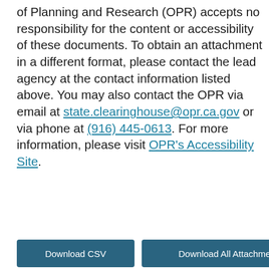of Planning and Research (OPR) accepts no responsibility for the content or accessibility of these documents. To obtain an attachment in a different format, please contact the lead agency at the contact information listed above. You may also contact the OPR via email at state.clearinghouse@opr.ca.gov or via phone at (916) 445-0613. For more information, please visit OPR's Accessibility Site.
Download CSV
Download All Attachments